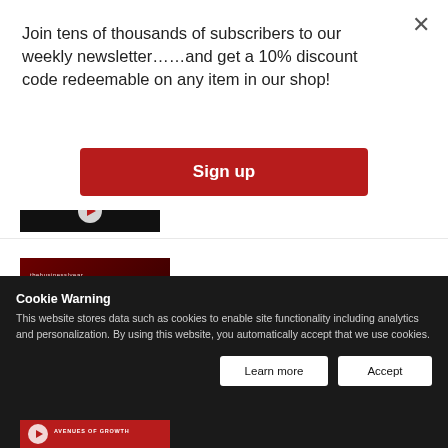Join tens of thousands of subscribers to our weekly newsletter……and get a 10% discount code redeemable on any item in our shop!
[Figure (screenshot): Red 'Sign up' button on white modal background]
[Figure (screenshot): Video thumbnail for 'NMDC: Sustainable Growth and Future Horizons' with play button on dark red background, thebusinessyear branding]
NMDC: Sustainable Growth and Future Horizons
Cookie Warning
This website stores data such as cookies to enable site functionality including analytics and personalization. By using this website, you automatically accept that we use cookies.
[Figure (screenshot): Cookie warning bar with 'Learn more' and 'Accept' buttons on dark background]